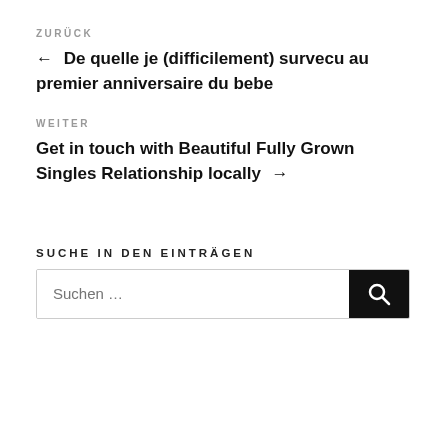ZURÜCK
← De quelle je (difficilement) survecu au premier anniversaire du bebe
WEITER
Get in touch with Beautiful Fully Grown Singles Relationship locally →
SUCHE IN DEN EINTRÄGEN
Suchen …